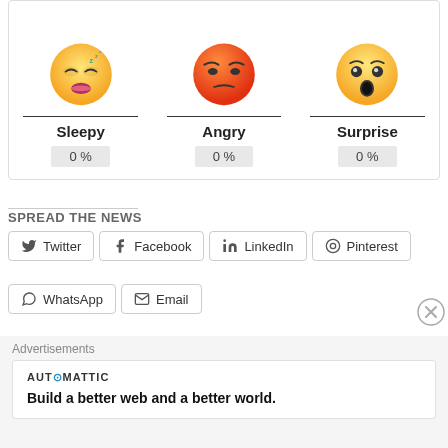[Figure (infographic): Three emoji reaction columns: Sleepy (0%), Angry (0%), Surprise (0%)]
SPREAD THE NEWS
Twitter  Facebook  LinkedIn  Pinterest  WhatsApp  Email
LIKE THIS:
Like
Be the first to like this.
Advertisements
AUTOMATTIC
Build a better web and a better world.